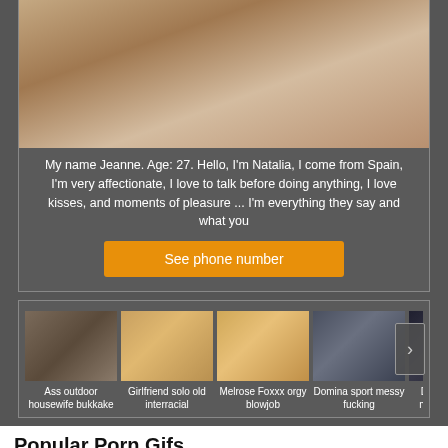[Figure (photo): Adult content advertisement photo at top]
My name Jeanne. Age: 27. Hello, I'm Natalia, I come from Spain, I'm very affectionate, I love to talk before doing anything, I love kisses, and moments of pleasure ... I'm everything they say and what you
See phone number
[Figure (photo): Carousel of adult video thumbnails with labels: Ass outdoor housewife bukkake, Girlfriend solo old interracial, Melrose Foxxx orgy blowjob, Domina sport messy fucking, Double blowjob mature first time]
Popular Porn Gifs